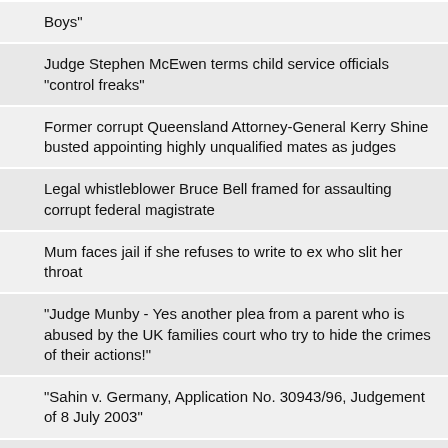| Boys" |
| Judge Stephen McEwen terms child service officials "control freaks" |
| Former corrupt Queensland Attorney-General Kerry Shine busted appointing highly unqualified mates as judges |
| Legal whistleblower Bruce Bell framed for assaulting corrupt federal magistrate |
| Mum faces jail if she refuses to write to ex who slit her throat |
| "Judge Munby - Yes another plea from a parent who is abused by the UK families court who try to hide the crimes of their actions!" |
| "Sahin v. Germany, Application No. 30943/96, Judgement of 8 July 2003" |
| "Judges critical of mum jailing (by corrupt Judge Michael Jarrett)" |
| "US judge receives 28-year jail term for his role in kids-for-cash kickbacks" |
| "When Judges Award Custody to Abusive Parents" |
| Conflict of Interest - Judges on NGO Panels |